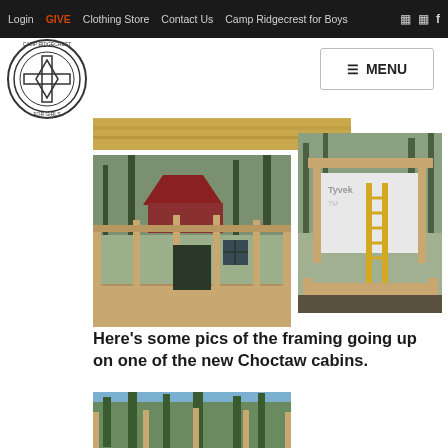Login | GIVE | Clothing Store | Contact Us | Camp Ridgecrest for Boys
[Figure (photo): Camp Ridgecrest logo - circular emblem with compass/cross design]
[Figure (photo): Partial view of wood planks/lumber at top]
[Figure (photo): Construction framing of a building interior with a red-roofed structure visible in background, surrounded by trees]
[Figure (photo): Construction framing with Tyvek house wrap visible, ladder leaning against structure]
Here’s some pics of the framing going up on one of the new Choctaw cabins.
[Figure (photo): Trees and framing structure visible at bottom, partially cropped]